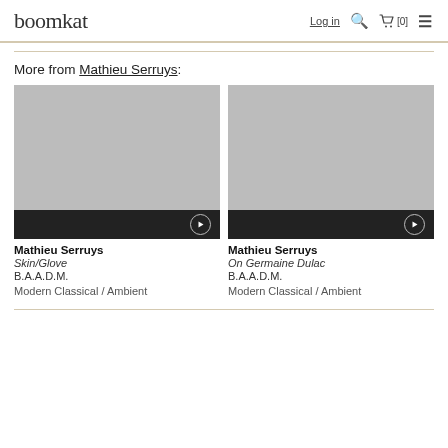boomkat — Log in [0] menu
More from Mathieu Serruys:
[Figure (photo): Album artwork placeholder (grey box) with dark play bar at bottom for Mathieu Serruys - Skin/Glove]
Mathieu Serruys
Skin/Glove
B.A.A.D.M.
Modern Classical / Ambient
[Figure (photo): Album artwork placeholder (grey box) with dark play bar at bottom for Mathieu Serruys - On Germaine Dulac]
Mathieu Serruys
On Germaine Dulac
B.A.A.D.M.
Modern Classical / Ambient